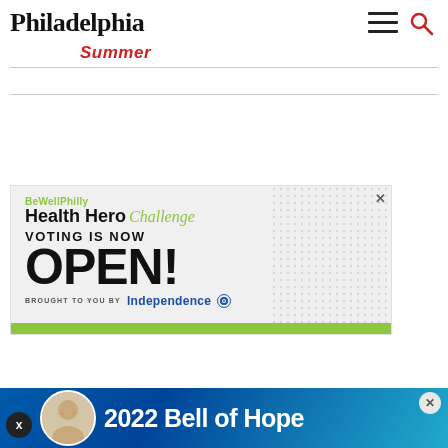Philadelphia
Summer
[Figure (infographic): BeWellPhilly Health Hero Challenge advertisement. Text reads: BeWellPhilly, Health Hero Challenge, VOTING IS NOW OPEN! BROUGHT TO YOU BY Independence [logo]. Green bar at bottom.]
[Figure (infographic): 2022 Bell of Hope advertisement banner at bottom of page with person photo and teal/blue diagonal design.]